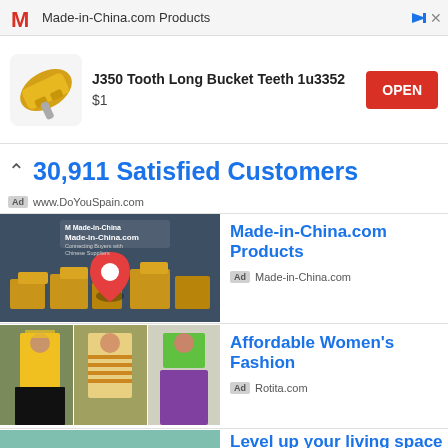[Figure (screenshot): Top ad banner with Made-in-China.com logo (red M) and text 'Made-in-China.com Products']
[Figure (screenshot): App install ad: J350 Tooth Long Bucket Teeth 1u3352 product image with yellow bucket teeth, price $1 and red OPEN button]
30,911 Satisfied Customers
Ad  www.DoYouSpain.com
[Figure (photo): Made-in-China.com promotional image showing boxes/packages with red location pin and brand logo]
Made-in-China.com Products
Ad  Made-in-China.com
[Figure (photo): Three women in colorful fashion outfits - yellow dress, striped dress, green and purple outfit]
Affordable Women's Fashion
Ad  Rotita.com
[Figure (photo): Teal/mint colored room interior with macrame wall hanging]
Level up your living space
Ad  Pink Resort Room...